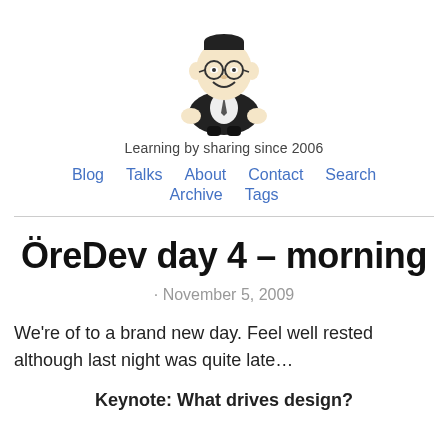[Figure (illustration): Cartoon caricature of a person with glasses, short hair, wearing a dark jacket, smiling, sitting in a squatting pose]
Learning by sharing since 2006
Blog   Talks   About   Contact   Search   Archive   Tags
ÖreDev day 4 – morning
· November 5, 2009
We're of to a brand new day. Feel well rested although last night was quite late…
Keynote: What drives design?